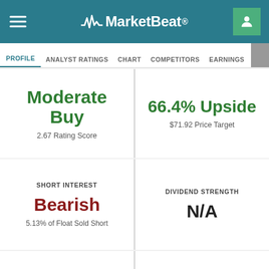MarketBeat
PROFILE | ANALYST RATINGS | CHART | COMPETITORS | EARNINGS | FINANCIAL
Moderate Buy
2.67 Rating Score
66.4% Upside
$71.92 Price Target
SHORT INTEREST
Bearish
5.13% of Float Sold Short
DIVIDEND STRENGTH
N/A
SUSTAINABILITY
N/A
NEWS SENTIMENT
1.15
Based on 2 Articles This Week